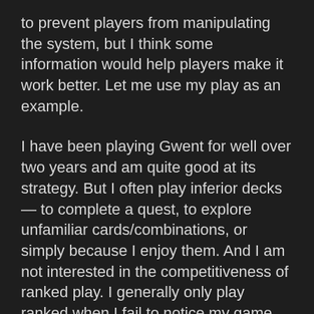to prevent players from manipulating the system, but I think some information would help players make it work better. Let me use my play as an example.
I have been playing Gwent for well over two years and am quite good at its strategy. But I often play inferior decks — to complete a quest, to explore unfamiliar cards/combinations, or simply because I enjoy them. And I am not interested in the competitiveness of ranked play. I generally only play ranked when I fail to notice my game was reset to ranked play, or once a month to qualify for the rewards. Thus, my ranking has fallen to rank 24 —and I am fine with that.
But recently, a large proportion of the unranked games I get are against very weak competition.